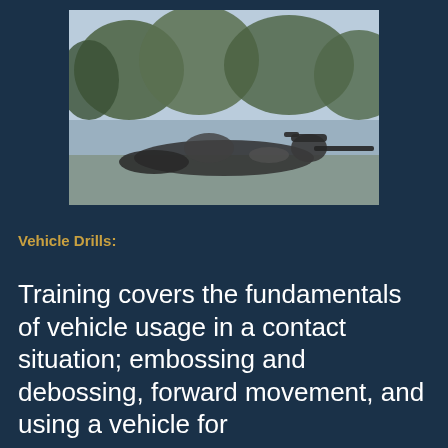[Figure (photo): Black and white photo of a person in tactical/shooting position lying prone with a rifle, outdoors with trees in background]
Vehicle Drills:
Training covers the fundamentals of vehicle usage in a contact situation; embossing and debossing, forward movement, and using a vehicle for